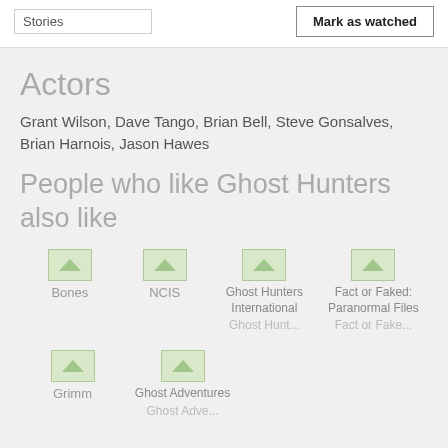Stories
Mark as watched
Actors
Grant Wilson, Dave Tango, Brian Bell, Steve Gonsalves, Brian Harnois, Jason Hawes
People who like Ghost Hunters also like
[Figure (screenshot): Bones show thumbnail]
Bones
[Figure (screenshot): NCIS show thumbnail]
NCIS
[Figure (screenshot): Ghost Hunters International show thumbnail]
Ghost Hunt...
[Figure (screenshot): Fact or Faked: Paranormal Files show thumbnail]
Fact or Fake...
[Figure (screenshot): Grimm show thumbnail]
Grimm
[Figure (screenshot): Ghost Adventures show thumbnail]
Ghost Adve...